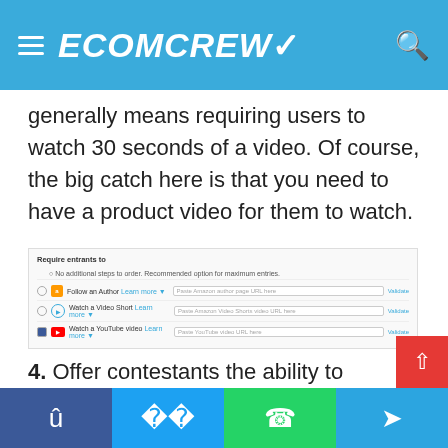ECOMCREW
generally means requiring users to watch 30 seconds of a video. Of course, the big catch here is that you need to have a product video for them to watch.
[Figure (screenshot): Screenshot of Amazon giveaway settings showing 'Require entrants to' options: No additional steps to order (recommended), Follow an Author, Watch a Video Short, Watch a YouTube video — each with URL input fields and Validate buttons.]
4. Offer contestants the ability to purchase your product at a discount. Without offering a
Facebook | Twitter | WhatsApp | Telegram